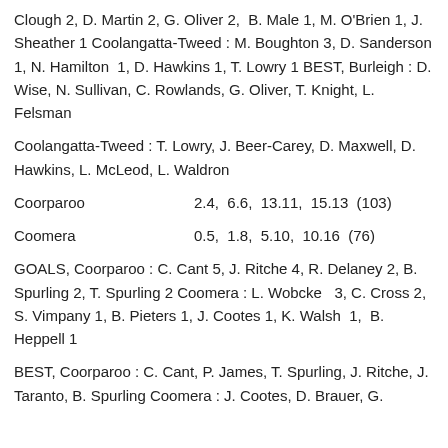Clough 2, D. Martin 2, G. Oliver 2, B. Male 1, M. O'Brien 1, J. Sheather 1 Coolangatta-Tweed : M. Boughton 3, D. Sanderson 1, N. Hamilton 1, D. Hawkins 1, T. Lowry 1 BEST, Burleigh : D. Wise, N. Sullivan, C. Rowlands, G. Oliver, T. Knight, L. Felsman
Coolangatta-Tweed : T. Lowry, J. Beer-Carey, D. Maxwell, D. Hawkins, L. McLeod, L. Waldron
Coorparoo   2.4,  6.6,  13.11,  15.13  (103)
Coomera   0.5,  1.8,  5.10,  10.16  (76)
GOALS, Coorparoo : C. Cant 5, J. Ritche 4, R. Delaney 2, B. Spurling 2, T. Spurling 2 Coomera : L. Wobcke  3, C. Cross 2, S. Vimpany 1, B. Pieters 1, J. Cootes 1, K. Walsh 1, B. Heppell 1
BEST, Coorparoo : C. Cant, P. James, T. Spurling, J. Ritche, J. Taranto, B. Spurling Coomera : J. Cootes, D. Brauer, G.